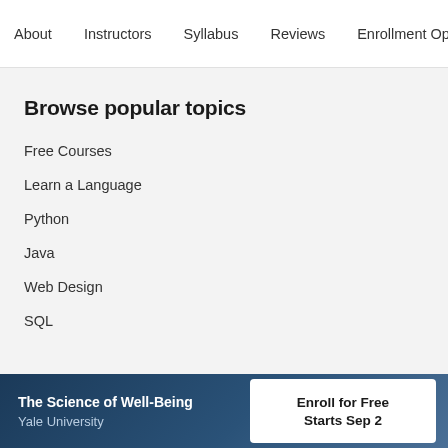About   Instructors   Syllabus   Reviews   Enrollment Opti
Browse popular topics
Free Courses
Learn a Language
Python
Java
Web Design
SQL
The Science of Well-Being
Yale University
Enroll for Free
Starts Sep 2